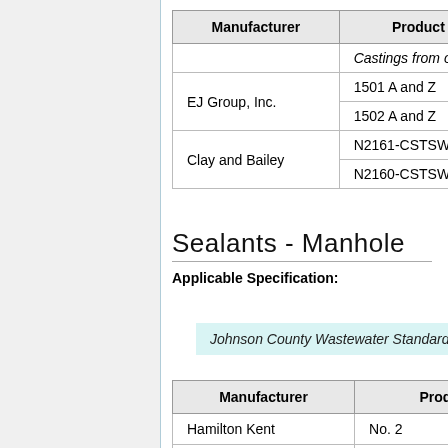| Manufacturer | Product Name or N |
| --- | --- |
|  | Castings from overseas |
| EJ Group, Inc. | 1501 A and Z |
| EJ Group, Inc. | 1502 A and Z |
| Clay and Bailey | N2161-CSTSWR |
| Clay and Bailey | N2160-CSTSWR |
Sealants - Manhole
Applicable Specification:
Johnson County Wastewater Standard
| Manufacturer | Product Nam |
| --- | --- |
| Hamilton Kent | No. 2 |
| Trelleborg | Bidco – C56 Butyl |